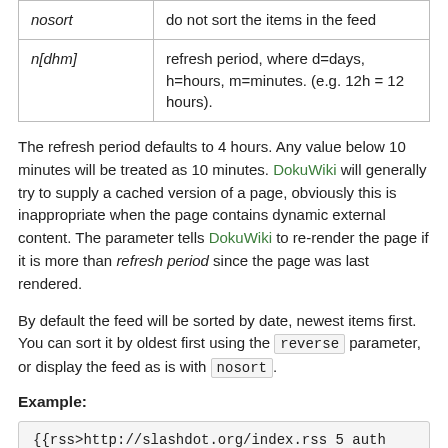|  |  |
| --- | --- |
| nosort | do not sort the items in the feed |
| n[dhm] | refresh period, where d=days, h=hours, m=minutes. (e.g. 12h = 12 hours). |
The refresh period defaults to 4 hours. Any value below 10 minutes will be treated as 10 minutes. DokuWiki will generally try to supply a cached version of a page, obviously this is inappropriate when the page contains dynamic external content. The parameter tells DokuWiki to re-render the page if it is more than refresh period since the page was last rendered.
By default the feed will be sorted by date, newest items first. You can sort it by oldest first using the reverse parameter, or display the feed as is with nosort.
Example:
{{rss>http://slashdot.org/index.rss 5 auth